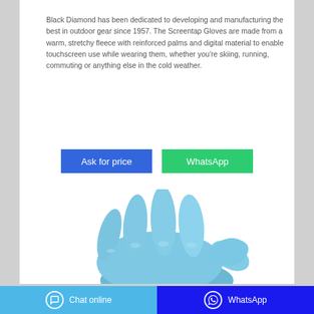Black Diamond has been dedicated to developing and manufacturing the best in outdoor gear since 1957. The Screentap Gloves are made from a warm, stretchy fleece with reinforced palms and digital material to enable touchscreen use while wearing them, whether you're skiing, running, commuting or anything else in the cold weather.
[Figure (other): Blue button labeled 'Ask for price' and green button labeled 'WhatsApp' side by side]
[Figure (photo): A blue latex/nitrile glove with fingers spread, viewed from above against a white background]
Chat online   WhatsApp